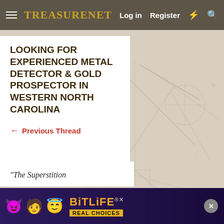TreasureNet  Log in  Register
LOOKING FOR EXPERIENCED METAL DETECTOR & GOLD PROSPECTOR IN WESTERN NORTH CAROLINA
← Previous Thread
[Figure (illustration): Faded treasure map background with lines, X marks, and compass-style sketches in beige/tan tones]
“The Superstition
[Figure (infographic): BitLife advertisement banner with colorful emojis (devil, woman, angel) and text BITLIFE REAL CHOICES on dark purple background]